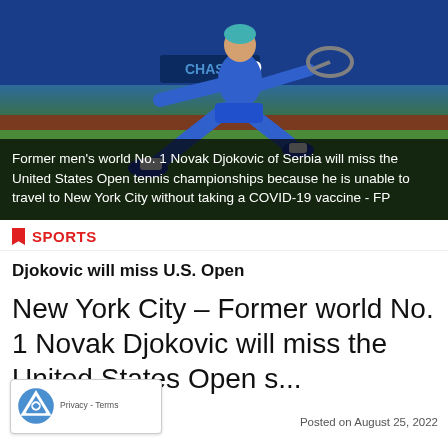[Figure (photo): Tennis player in blue outfit lunging to hit a shot on a court, with blue background boards visible]
Former men's world No. 1 Novak Djokovic of Serbia will miss the United States Open tennis championships because he is unable to travel to New York City without taking a COVID-19 vaccine - FP
SPORTS
Djokovic will miss U.S. Open
New York City – Former world No. 1 Novak Djokovic will miss the United States Open s...
Posted on August 25, 2022